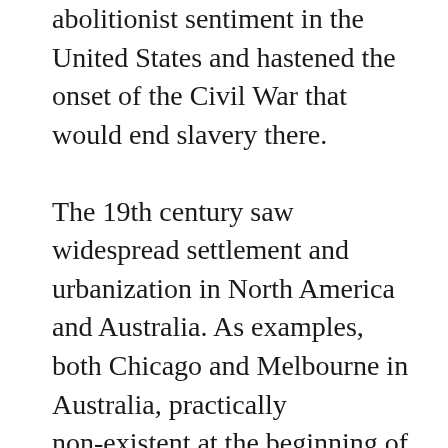abolitionist sentiment in the United States and hastened the onset of the Civil War that would end slavery there.
The 19th century saw widespread settlement and urbanization in North America and Australia. As examples, both Chicago and Melbourne in Australia, practically non-existent at the beginning of the 19th century, grew to become their nations' second-largest cities. This was part of the tide of migration of the 19th